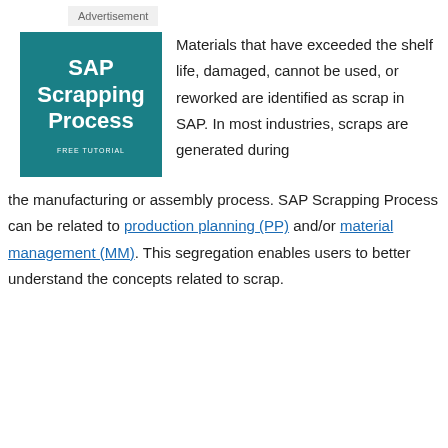Advertisement
[Figure (illustration): Book cover with teal background showing 'SAP Scrapping Process' in white bold text and 'FREE TUTORIAL' below]
Materials that have exceeded the shelf life, damaged, cannot be used, or reworked are identified as scrap in SAP. In most industries, scraps are generated during the manufacturing or assembly process. SAP Scrapping Process can be related to production planning (PP) and/or material management (MM). This segregation enables users to better understand the concepts related to scrap.